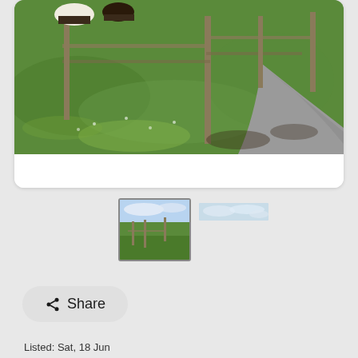[Figure (photo): Main photo showing a green grassy pasture with wooden fence posts and cattle visible in the upper left. A gravel path runs along the right side. The image is cropped at the top showing partial view.]
[Figure (photo): Thumbnail of a pastoral scene with green fields, fence posts, and blue sky with clouds - selected/active thumbnail with grey border.]
[Figure (photo): Thumbnail showing a wide panoramic sky with clouds, appearing as a narrow horizontal strip.]
Share
Listed: Sat, 18 Jun